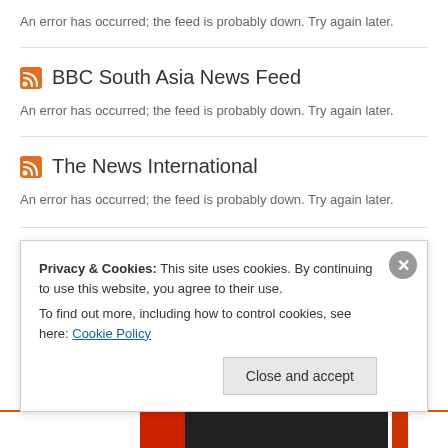An error has occurred; the feed is probably down. Try again later.
BBC South Asia News Feed
An error has occurred; the feed is probably down. Try again later.
The News International
An error has occurred; the feed is probably down. Try again later.
Privacy & Cookies: This site uses cookies. By continuing to use this website, you agree to their use.
To find out more, including how to control cookies, see here: Cookie Policy